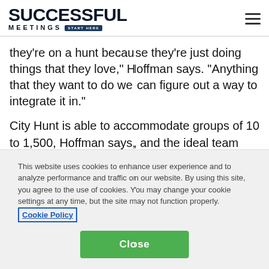SUCCESSFUL MEETINGS START HERE
they're on a hunt because they're just doing things that they love," Hoffman says. "Anything that they want to do we can figure out a way to integrate it in."
City Hunt is able to accommodate groups of 10 to 1,500, Hoffman says, and the ideal team size is four to six attendees. A minimum of two-weeks lead time is best,
This website uses cookies to enhance user experience and to analyze performance and traffic on our website. By using this site, you agree to the use of cookies. You may change your cookie settings at any time, but the site may not function properly. Cookie Policy
Close